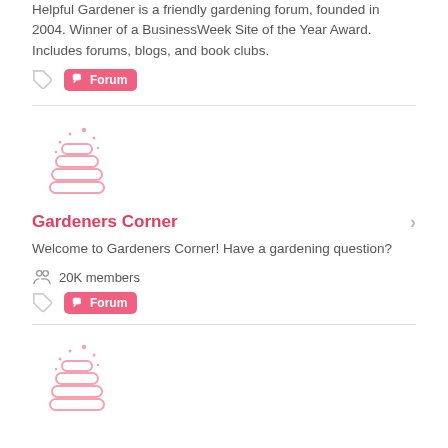Helpful Gardener is a friendly gardening forum, founded in 2004. Winner of a BusinessWeek Site of the Year Award. Includes forums, blogs, and book clubs.
Forum
[Figure (illustration): Pink stacked stones / Gardeners Corner logo icon]
Gardeners Corner
Welcome to Gardeners Corner! Have a gardening question?
20K members
Forum
[Figure (illustration): Pink stacked stones / gardening forum logo icon (partial, bottom of page)]